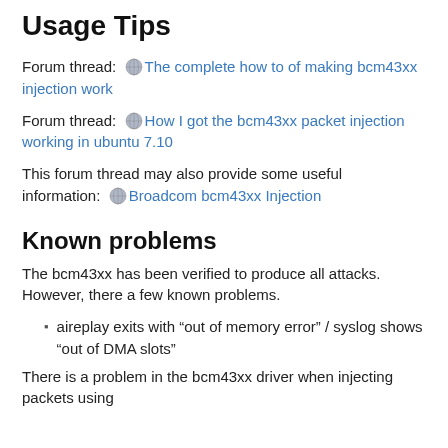Usage Tips
Forum thread: The complete how to of making bcm43xx injection work
Forum thread: How I got the bcm43xx packet injection working in ubuntu 7.10
This forum thread may also provide some useful information: Broadcom bcm43xx Injection
Known problems
The bcm43xx has been verified to produce all attacks. However, there a few known problems.
aireplay exits with “out of memory error” / syslog shows “out of DMA slots”
There is a problem in the bcm43xx driver when injecting packets using